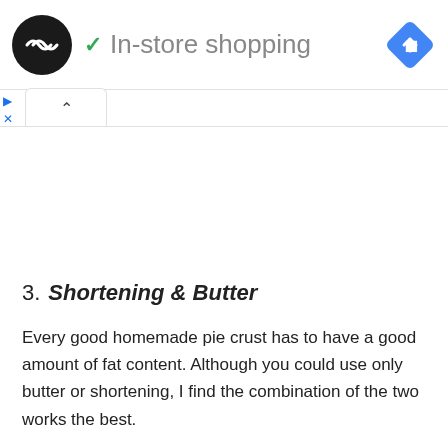In-store shopping
3. Shortening & Butter
Every good homemade pie crust has to have a good amount of fat content. Although you could use only butter or shortening, I find the combination of the two works the best.
This is what makes the pie crust so flaky when baked.